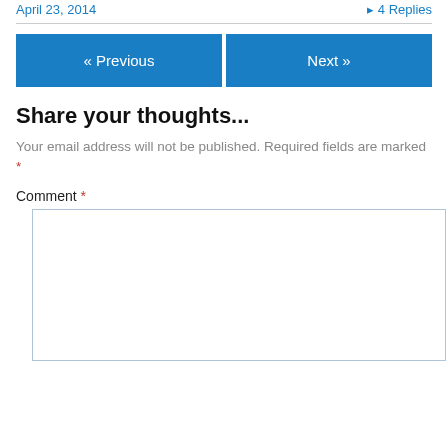April 23, 2014   ▸ 4 Replies
« Previous   Next »
Share your thoughts...
Your email address will not be published. Required fields are marked *
Comment *